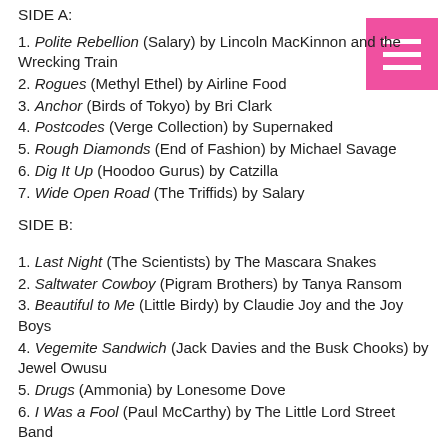SIDE A:
1. Polite Rebellion (Salary) by Lincoln MacKinnon and the Wrecking Train
2. Rogues (Methyl Ethel) by Airline Food
3. Anchor (Birds of Tokyo) by Bri Clark
4. Postcodes (Verge Collection) by Supernaked
5. Rough Diamonds (End of Fashion) by Michael Savage
6. Dig It Up (Hoodoo Gurus) by Catzilla
7. Wide Open Road (The Triffids) by Salary
SIDE B:
1. Last Night (The Scientists) by The Mascara Snakes
2. Saltwater Cowboy (Pigram Brothers) by Tanya Ransom
3. Beautiful to Me (Little Birdy) by Claudie Joy and the Joy Boys
4. Vegemite Sandwich (Jack Davies and the Busk Chooks) by Jewel Owusu
5. Drugs (Ammonia) by Lonesome Dove
6. I Was a Fool (Paul McCarthy) by The Little Lord Street Band
7. Glad Not Sad (The Times) by Luke Dux
8. Slam (Pendulum) & Black Panda (Koi Child) by SuperEgo